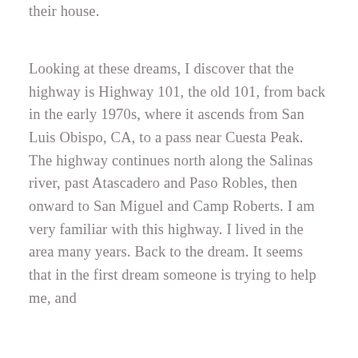their house.
Looking at these dreams, I discover that the highway is Highway 101, the old 101, from back in the early 1970s, where it ascends from San Luis Obispo, CA, to a pass near Cuesta Peak. The highway continues north along the Salinas river, past Atascadero and Paso Robles, then onward to San Miguel and Camp Roberts. I am very familiar with this highway. I lived in the area many years. Back to the dream. It seems that in the first dream someone is trying to help me, and